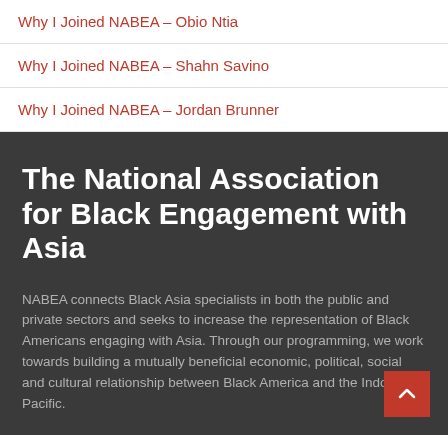Why I Joined NABEA – Obio Ntia
Why I Joined NABEA – Shahn Savino
Why I Joined NABEA – Jordan Brunner
The National Association for Black Engagement with Asia
NABEA connects Black Asia specialists in both the public and private sectors and seeks to increase the representation of Black Americans engaging with Asia. Through our programming, we work towards building a mutually beneficial economic, political, social and cultural relationship between Black America and the Indo-Pacific.